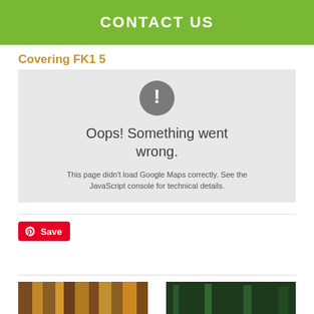CONTACT US
Covering FK1 5
[Figure (other): Google Maps error box with grey background showing exclamation mark icon, text 'Oops! Something went wrong.' and sub-text 'This page didn't load Google Maps correctly. See the JavaScript console for technical details.']
[Figure (other): Pinterest Save button (red with Pinterest logo and Save text)]
[Figure (photo): Two partial thumbnail images at the bottom of the page — left image appears to show books/shelves with warm brown tones, right image appears to show a dark green outdoor scene]